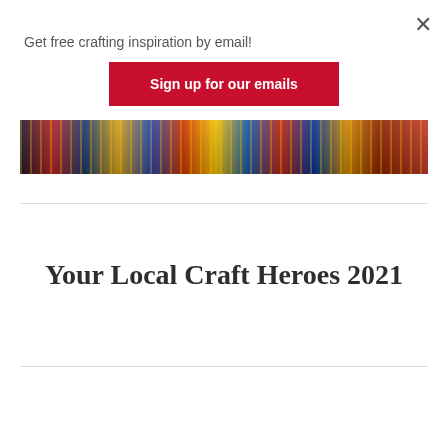Get free crafting inspiration by email!
Sign up for our emails
[Figure (photo): A colorful decorative banner strip showing vibrant African or ethnic print fabric patterns in blue, yellow, red, and other colors]
Your Local Craft Heroes 2021